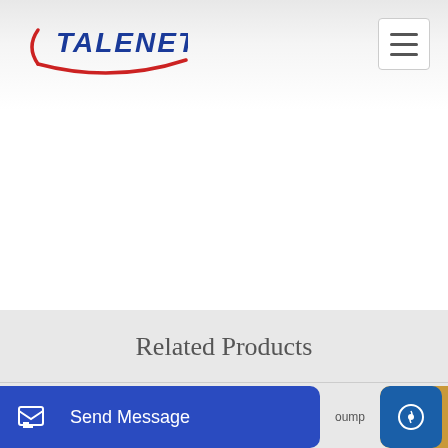[Figure (logo): Talenet company logo with blue text and red swoosh arc]
Related Products
Wheeler Roger Concrete Pumping Yucaipa CA
Stationary concrete batching plant for sale
Send Message
Inquiry Online